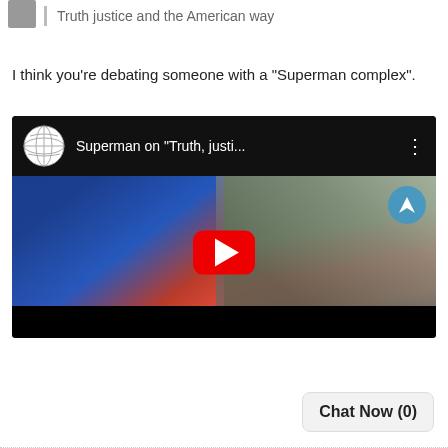Truth justice and the American way
I think you're debating someone with a "Superman complex".
[Figure (screenshot): YouTube video thumbnail showing Superman on 'Truth, justi...' with Wikipedia globe icon in header and a movie still of Superman and a woman facing each other, with a red YouTube play button overlay.]
Chat Now (0)